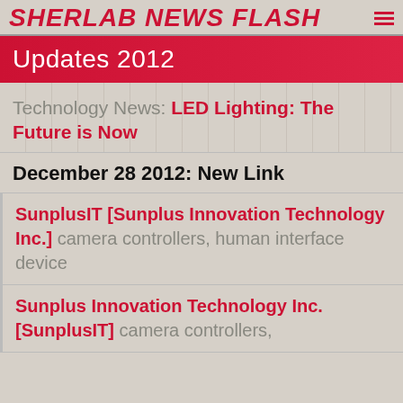Sherlab News Flash
Updates 2012
Technology News: LED Lighting: The Future is Now
December 28 2012: New Link
SunplusIT [Sunplus Innovation Technology Inc.] camera controllers, human interface device
Sunplus Innovation Technology Inc. [SunplusIT] camera controllers,